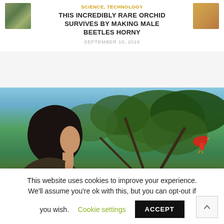SCIENCE, TECHNOLOGY
THIS INCREDIBLY RARE ORCHID SURVIVES BY MAKING MALE BEETLES HORNY
SEPTEMBER 10, 2016
[Figure (photo): Person holding a smartphone pointed at a red parrot in a tree, green foliage background with blue sky]
SCIENCE, TECHNOLOGY
THE NEXT PANDEMIC COULD BE LURKING ANYWHERE. CAN THIS WILDLIFE-TRACKING APP HELP PREVENT IT?
SEPTEMBER 10, 2016 (partial)
This website uses cookies to improve your experience. We'll assume you're ok with this, but you can opt-out if you wish.
Cookie settings
ACCEPT